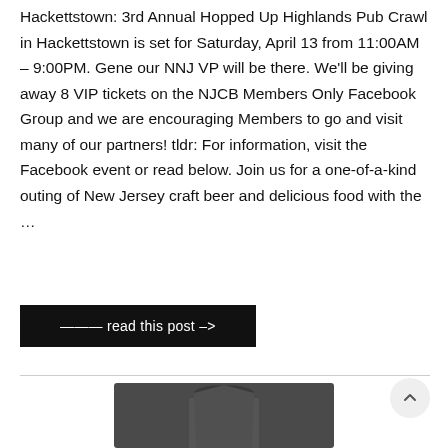Hackettstown: 3rd Annual Hopped Up Highlands Pub Crawl in Hackettstown is set for Saturday, April 13 from 11:00AM – 9:00PM. Gene our NNJ VP will be there. We'll be giving away 8 VIP tickets on the NJCB Members Only Facebook Group and we are encouraging Members to go and visit many of our partners! tldr: For information, visit the Facebook event or read below. Join us for a one-of-a-kind outing of New Jersey craft beer and delicious food with the …
——— read this post –>
[Figure (photo): Partial view of a dark grey garment or textile item at the bottom of the page]